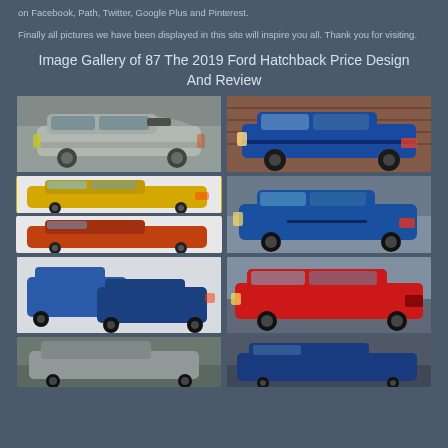on Facebook, Path, Twitter, Google Plus and Pinterest.
Finally all pictures we have been displayed in this site will inspire you all. Thank you for visiting.
Image Gallery of 87 The 2019 Ford Hatchback Price Design And Review
[Figure (photo): White Ford hatchback (Active variant) parked in urban setting]
[Figure (photo): Blue Ford Focus hatchback parked in front of brick wall]
[Figure (photo): Yellow and orange Ford Fiesta ST hatchbacks side profile on white background]
[Figure (photo): Blue Ford Focus ST hatchback side/front view on road]
[Figure (photo): Two blue Ford Fiesta hatchbacks side by side on white background]
[Figure (photo): Red Ford Focus estate/wagon driving on road]
[Figure (photo): Silver/blue Ford hatchback on road with trees]
[Figure (photo): Dark blue Ford Focus hatchback partial view]